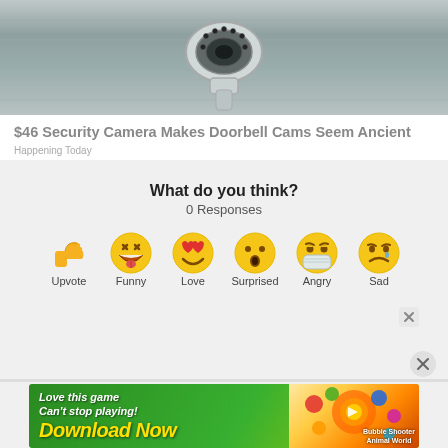[Figure (photo): Security camera mounted on a metal surface, viewed from below. The camera is white/silver and circular.]
$46 Security Camera Makes Doorbell Cams Seem Ancient
Happening Today
What do you think?
0 Responses
[Figure (infographic): Six emoji reaction buttons: Upvote (thumbs up), Funny (laughing face with tongue), Love (heart eyes), Surprised (wide-eyed face), Angry (mask face), Sad (crying face). Each labeled beneath.]
[Figure (screenshot): Bottom advertisement banner: 'Love this game Can't stop playing! Download Now' with colorful game imagery for Bubble Shooter Animal World]